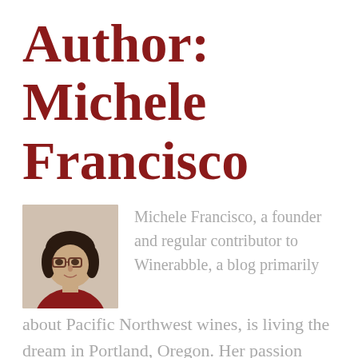Author: Michele Francisco
[Figure (photo): Headshot photo of Michele Francisco, a woman with dark hair and glasses, wearing a red top]
Michele Francisco, a founder and regular contributor to Winerabble, a blog primarily about Pacific Northwest wines, is living the dream in Portland, Oregon. Her passion leads some to believe she's got wine running through her veins. Contact